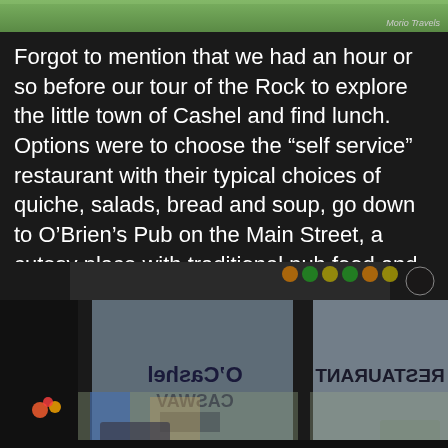[Figure (photo): Top portion of a landscape/scenery photo with 'Morio Travels' watermark in bottom right corner]
Forgot to mention that we had an hour or so before our tour of the Rock to explore the little town of Cashel and find lunch.  Options were to choose the “self service” restaurant with their typical choices of quiche, salads, bread and soup, go down to O’Brien’s Pub on the Main Street, a cutesy place with traditional pub food and more beer, or wander off on our own.
[Figure (photo): Photo of a restaurant storefront with glass windows reflecting street scene, showing reversed text 'O'Cashel Restaurant' on the glass, street visible in background with cars and buildings]